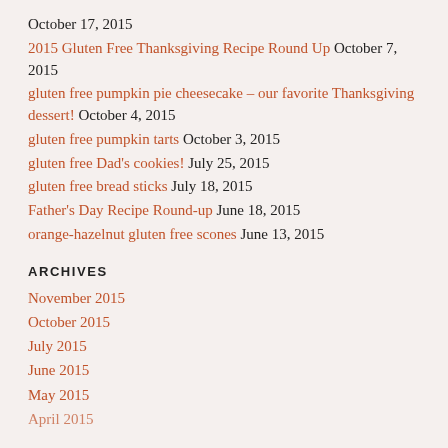October 17, 2015
2015 Gluten Free Thanksgiving Recipe Round Up October 7, 2015
gluten free pumpkin pie cheesecake – our favorite Thanksgiving dessert! October 4, 2015
gluten free pumpkin tarts October 3, 2015
gluten free Dad's cookies! July 25, 2015
gluten free bread sticks July 18, 2015
Father's Day Recipe Round-up June 18, 2015
orange-hazelnut gluten free scones June 13, 2015
ARCHIVES
November 2015
October 2015
July 2015
June 2015
May 2015
April 2015